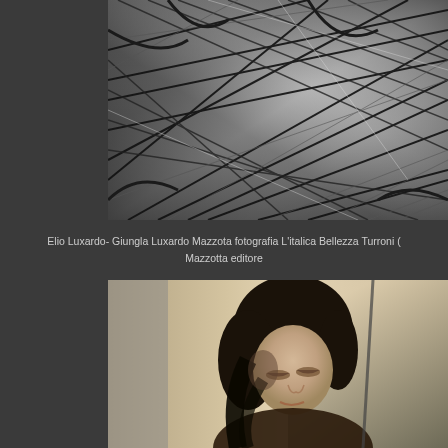[Figure (photo): Black and white photograph of tropical jungle foliage, bamboo or palm fronds crossing diagonally, dense vegetation pattern]
Elio Luxardo- Giungla Luxardo Mazzota fotografia L'italica Bellezza Turroni ( Mazzotta editore
[Figure (photo): Black and white portrait photograph of a young dark-haired woman with eyes downcast, soft lighting with shadow on wall behind her]